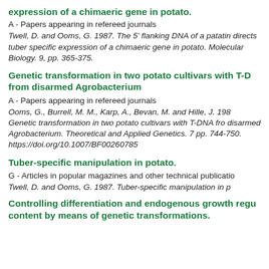expression of a chimaeric gene in potato.
A - Papers appearing in refereed journals
Twell, D. and Ooms, G. 1987. The 5' flanking DNA of a patatin directs tuber specific expression of a chimaeric gene in potato. Molecular Biology. 9, pp. 365-375.
Genetic transformation in two potato cultivars with T-DNA from disarmed Agrobacterium
A - Papers appearing in refereed journals
Ooms, G., Burrell, M. M., Karp, A., Bevan, M. and Hille, J. 1987. Genetic transformation in two potato cultivars with T-DNA from disarmed Agrobacterium. Theoretical and Applied Genetics. 7 pp. 744-750. https://doi.org/10.1007/BF00260785
Tuber-specific manipulation in potato.
G - Articles in popular magazines and other technical publications
Twell, D. and Ooms, G. 1987. Tuber-specific manipulation in p
Controlling differentiation and endogenous growth regu content by means of genetic transformations.